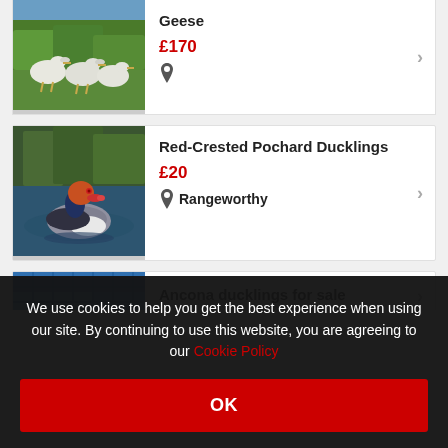[Figure (photo): Photo of white geese standing outdoors on grass]
Geese
£170
[Figure (photo): Photo of a Red-Crested Pochard duck swimming on water]
Red-Crested Pochard Ducklings
£20
Rangeworthy
[Figure (photo): Partial photo of Ancona ducklings listing]
Ancona ducklings for sale
We use cookies to help you get the best experience when using our site. By continuing to use this website, you are agreeing to our Cookie Policy
OK